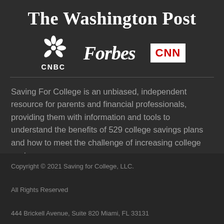The Washington Post
[Figure (logo): CNBC logo with peacock feathers icon and CNBC text below]
[Figure (logo): Forbes logo in bold italic serif text]
[Figure (logo): CNN logo in red text on white box]
Saving For College is an unbiased, independent resource for parents and financial professionals, providing them with information and tools to understand the benefits of 529 college savings plans and how to meet the challenge of increasing college costs.
Copyright © 2021 Saving for College, LLC.
All Rights Reserved
444 Brickell Avenue, Suite 820 Miami, FL 33131